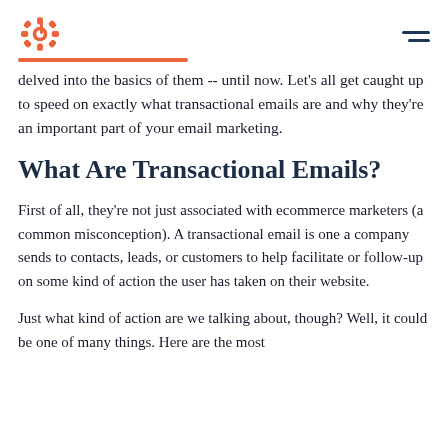HubSpot logo and navigation menu
delved into the basics of them -- until now. Let's all get caught up to speed on exactly what transactional emails are and why they're an important part of your email marketing.
What Are Transactional Emails?
First of all, they're not just associated with ecommerce marketers (a common misconception). A transactional email is one a company sends to contacts, leads, or customers to help facilitate or follow-up on some kind of action the user has taken on their website.
Just what kind of action are we talking about, though? Well, it could be one of many things. Here are the most